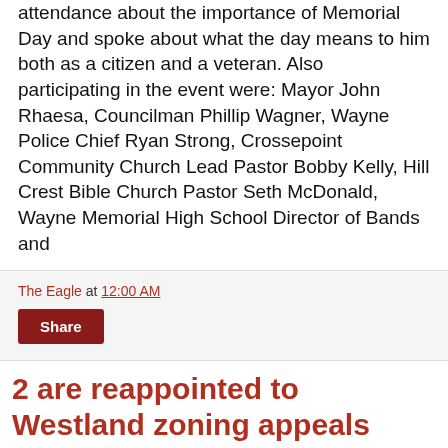attendance about the importance of Memorial Day and spoke about what the day means to him both as a citizen and a veteran. Also participating in the event were: Mayor John Rhaesa, Councilman Phillip Wagner, Wayne Police Chief Ryan Strong, Crossepoint Community Church Lead Pastor Bobby Kelly, Hill Crest Bible Church Pastor Seth McDonald, Wayne Memorial High School Director of Bands and
The Eagle at 12:00 AM
Share
2 are reappointed to Westland zoning appeals board
The Westland City Council has announced the reappointment of D...
[Figure (photo): Headshot photo of a woman with brown hair and glasses against a blue/gray background]
[Figure (photo): Headshot photo of a man against a gray background]